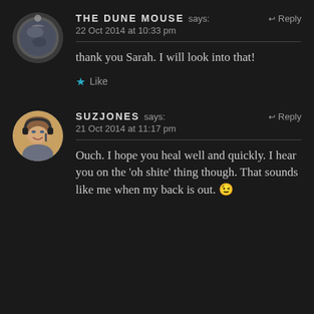[Figure (photo): Circular avatar showing a reflective globe/ball with scenic reflection, on dark background]
THE DUNE MOUSE says: Reply
22 Oct 2014 at 10:33 pm
thank you Sarah. I will look into that!
★ Like
[Figure (photo): Circular avatar photo of a smiling woman with brown hair wearing headphones]
SUZJONES says: Reply
21 Oct 2014 at 11:17 pm
Ouch. I hope you heal well and quickly. I hear you on the 'oh shite' thing though. That sounds like me when my back is out. 😉